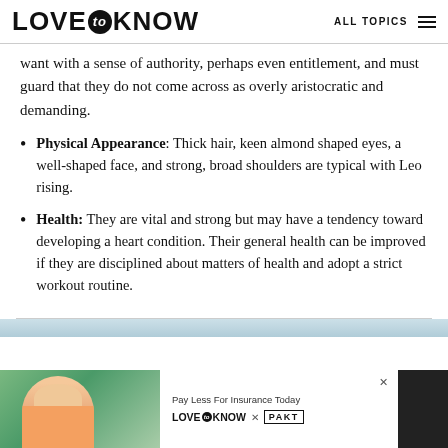LOVE to KNOW   ALL TOPICS
want with a sense of authority, perhaps even entitlement, and must guard that they do not come across as overly aristocratic and demanding.
Physical Appearance: Thick hair, keen almond shaped eyes, a well-shaped face, and strong, broad shoulders are typical with Leo rising.
Health: They are vital and strong but may have a tendency toward developing a heart condition. Their general health can be improved if they are disciplined about matters of health and adopt a strict workout routine.
[Figure (photo): Advertisement banner at bottom of page showing a woman outdoors, with text 'Pay Less For Insurance Today' and 'LOVE to KNOW x PAKT' branding on white background beside a dark strip.]